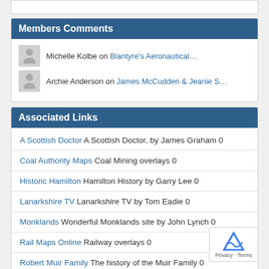Members Comments
Michelle Kolbe on Blantyre's Aeronautical…
Archie Anderson on James McCudden & Jeanie S…
Associated Links
A Scottish Doctor A Scottish Doctor, by James Graham 0
Coal Authority Maps Coal Mining overlays 0
Historic Hamilton Hamilton History by Garry Lee 0
Lanarkshire TV Lanarkshire TV by Tom Eadie 0
Monklands Wonderful Monklands site by John Lynch 0
Rail Maps Online Railway overlays 0
Robert Muir Family The history of the Muir Family 0
Rutherglen Heritage Society Rutherglen History 0